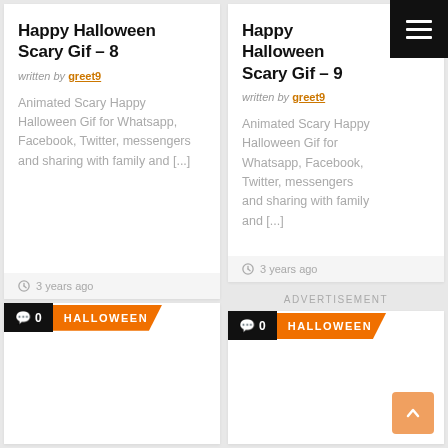Happy Halloween Scary Gif – 8
written by greet9
Animated Scary Happy Halloween Gif for Whatsapp, Facebook, Twitter, messengers and sharing with family and [...]
3 years ago
0  HALLOWEEN
Happy Halloween Scary Gif – 9
written by greet9
Animated Scary Happy Halloween Gif for Whatsapp, Facebook, Twitter, messengers and sharing with family and [...]
3 years ago
ADVERTISEMENT
0  HALLOWEEN